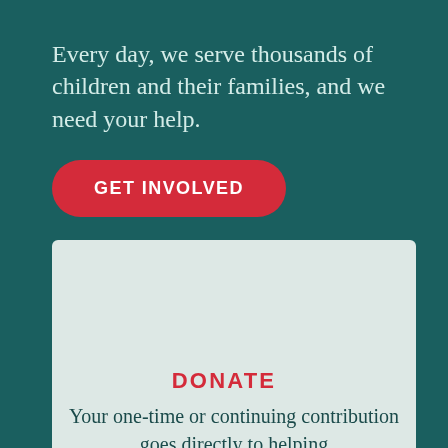Every day, we serve thousands of children and their families, and we need your help.
GET INVOLVED
DONATE
Your one-time or continuing contribution goes directly to helping